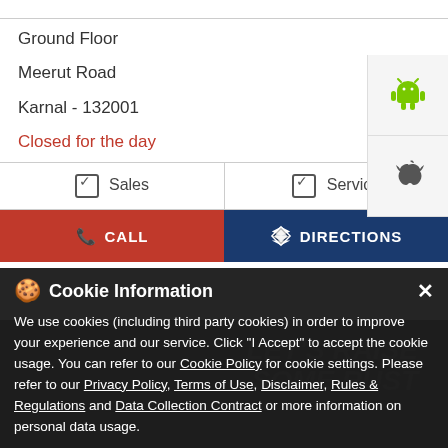Ground Floor
Meerut Road
Karnal - 132001
Closed for the day
✓ Sales   ✓ Service
CALL
DIRECTIONS
[Figure (screenshot): Android app icon button]
[Figure (screenshot): Apple/iOS app icon button]
Cookie Information
We use cookies (including third party cookies) in order to improve your experience and our service. Click "I Accept" to accept the cookie usage. You can refer to our Cookie Policy for cookie settings. Please refer to our Privacy Policy, Terms of Use, Disclaimer, Rules & Regulations and Data Collection Contract or more information on personal data usage.
I ACCEPT